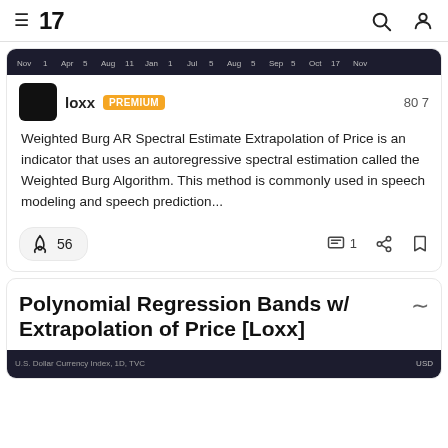TradingView navigation bar with hamburger menu, logo '17', search icon, and user icon
[Figure (screenshot): Dark chart strip showing date axis labels: Nov, 1, Apr, 5, Aug, 11, Jan, 1, Jul, 5, Aug, 5, Sep, 5, Oct, 17, Nov]
loxx PREMIUM  80 7
Weighted Burg AR Spectral Estimate Extrapolation of Price is an indicator that uses an autoregressive spectral estimation called the Weighted Burg Algorithm. This method is commonly used in speech modeling and speech prediction...
56  1
Polynomial Regression Bands w/ Extrapolation of Price [Loxx]
[Figure (screenshot): Dark chart strip with label 'U.S. Dollar Currency Index, 1D, TVC' on the left and 'USD' on the right]